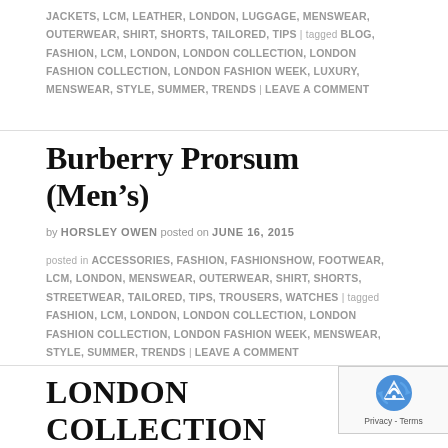JACKETS, LCM, LEATHER, LONDON, LUGGAGE, MENSWEAR, OUTERWEAR, SHIRT, SHORTS, TAILORED, TIPS | tagged BLOG, FASHION, LCM, LONDON, LONDON COLLECTION, LONDON FASHION COLLECTION, LONDON FASHION WEEK, LUXURY, MENSWEAR, STYLE, SUMMER, TRENDS | LEAVE A COMMENT
Burberry Prorsum (Men's)
by HORSLEY OWEN posted on JUNE 16, 2015
posted in ACCESSORIES, FASHION, FASHIONSHOW, FOOTWEAR, LCM, LONDON, MENSWEAR, OUTERWEAR, SHIRT, SHORTS, STREETWEAR, TAILORED, TIPS, TROUSERS, WATCHES | tagged FASHION, LCM, LONDON, LONDON COLLECTION, LONDON FASHION COLLECTION, LONDON FASHION WEEK, MENSWEAR, STYLE, SUMMER, TRENDS | LEAVE A COMMENT
LONDON COLLECTION MEN